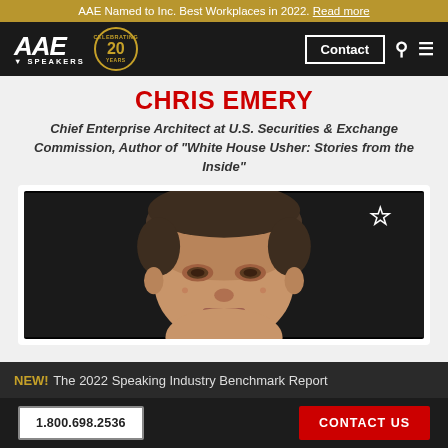AAE Named to Inc. Best Workplaces in 2022. Read more
[Figure (logo): AAE Speakers logo with '20 Years' anniversary badge and navigation bar with Contact button, search icon, and menu icon]
CHRIS EMERY
Chief Enterprise Architect at U.S. Securities & Exchange Commission, Author of "White House Usher: Stories from the Inside"
[Figure (photo): Close-up headshot of Chris Emery, a middle-aged man with short brown hair, against a dark background. A star/favorite icon appears in the top-right corner of the photo.]
NEW! The 2022 Speaking Industry Benchmark Report
1.800.698.2536
CONTACT US